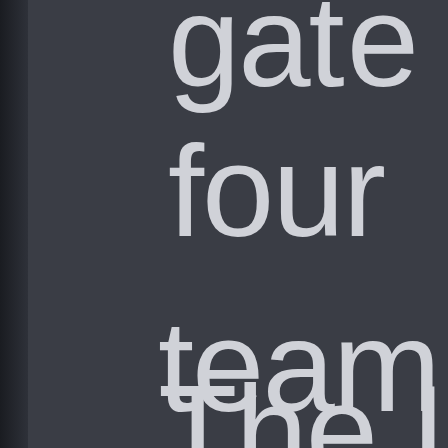gate four team The
[Figure (other): Partial view of large white text on dark grey background showing words: 'ga...' (cropped top), 'four', 'team' (cropped right), 'The' (cropped right). Left edge has a dark shadow/spine effect.]